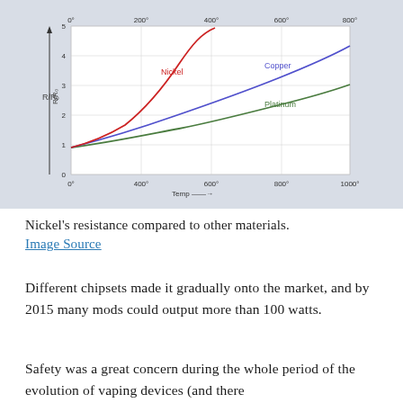[Figure (continuous-plot): Line chart showing resistance (R/R0) vs temperature for three metals: Nickel (red, steep exponential curve), Copper (blue/purple, moderate curve), and Platinum (green, gradual curve). Y-axis labeled R/R0 from 0 to 5. Top x-axis shows 0° to 800°, bottom x-axis shows 0° to 1000°. X-axis label: Temp with arrow.]
Nickel's resistance compared to other materials. Image Source
Different chipsets made it gradually onto the market, and by 2015 many mods could output more than 100 watts.
Safety was a great concern during the whole period of the evolution of vaping devices (and there